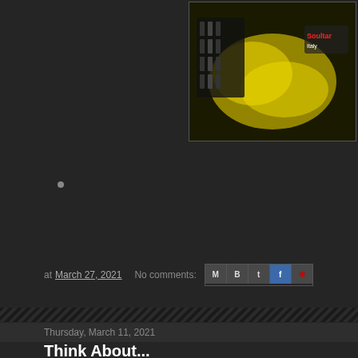[Figure (photo): Sci-fi themed image with yellow/black tones showing mechanical or electronic components with a logo overlay, top right of page]
•
at March 27, 2021   No comments:
[Figure (infographic): Social share icons: Email, Blogger, Twitter, Facebook, Pinterest]
Thursday, March 11, 2021
Think About...
[Figure (photo): Black and white space scene showing Earth or moon from space with UFO silhouettes, partially cropped at bottom of page]